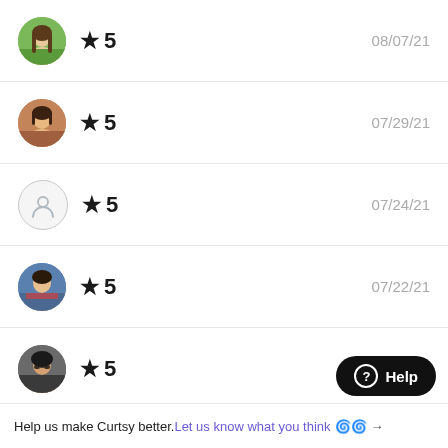★ 5  08/07/21
★ 5  07/29/21
★ 5  07/24/21
★ 5  07/22/21
★ 5  07/15/21
Help us make Curtsy better. Let us know what you think 👾💜 →